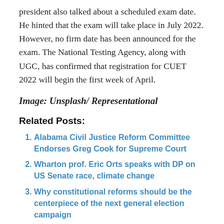president also talked about a scheduled exam date. He hinted that the exam will take place in July 2022. However, no firm date has been announced for the exam. The National Testing Agency, along with UGC, has confirmed that registration for CUET 2022 will begin the first week of April.
Image: Unsplash/ Representational
Related Posts:
Alabama Civil Justice Reform Committee Endorses Greg Cook for Supreme Court
Wharton prof. Eric Orts speaks with DP on US Senate race, climate change
Why constitutional reforms should be the centerpiece of the next general election campaign
Response filed in Dr Anderson's UMich case for sexual abuse after motion to dismiss